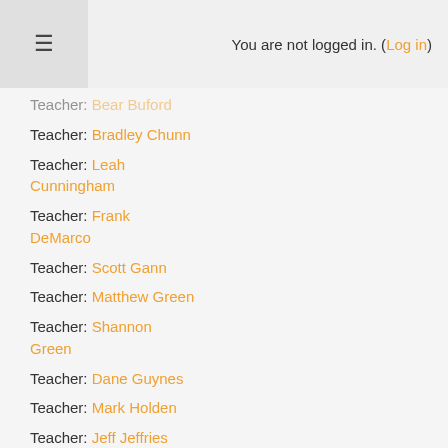You are not logged in. (Log in)
Teacher: Bear Buford
Teacher: Bradley Chunn
Teacher: Leah Cunningham
Teacher: Frank DeMarco
Teacher: Scott Gann
Teacher: Matthew Green
Teacher: Shannon Green
Teacher: Dane Guynes
Teacher: Mark Holden
Teacher: Jeff Jeffries
Teacher: Travis Kimberling
Teacher: Laura Ledbetter
Teacher: Susan Pollard
Teacher: Brandy Poole